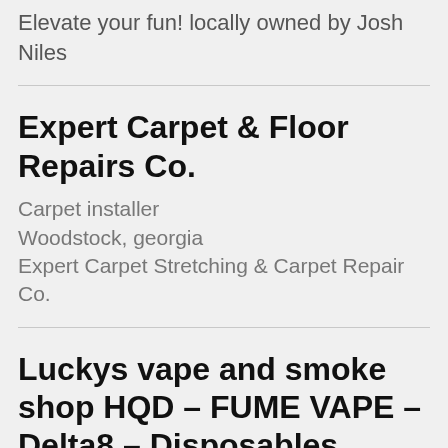Elevate your fun! locally owned by Josh Niles
Expert Carpet & Floor Repairs Co.
Carpet installer
Woodstock, georgia
Expert Carpet Stretching & Carpet Repair Co.
Luckys vape and smoke shop HQD – FUME VAPE – Delta8 – Disposables